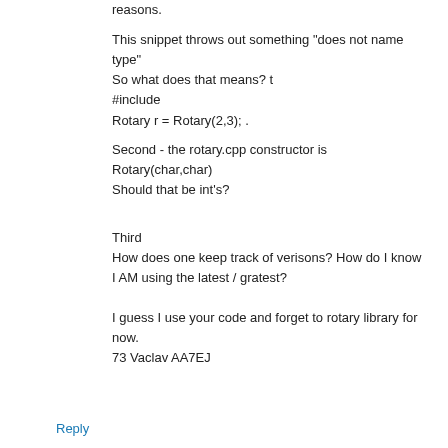reasons.
This snippet throws out something "does not name type"
So what does that means? t
#include
Rotary r = Rotary(2,3); .
Second - the rotary.cpp constructor is
Rotary(char,char)
Should that be int's?
Third
How does one keep track of verisons? How do I know I AM using the latest / gratest?
I guess I use your code and forget to rotary library for now.
73 Vaclav AA7EJ
Reply